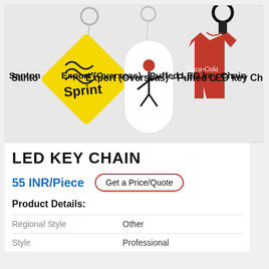[Figure (photo): Three promotional LED key chains hanging on key rings: a yellow diamond-shaped Sprint keychain, a white oval keychain with a figure graphic, and a red T-shirt shaped Coca-Cola keychain. Text overlay reads 'Santob Export (Overseas) - Puffed LED key Chain']
LED KEY CHAIN
55 INR/Piece
Get a Price/Quote
Product Details:
| Regional Style | Other |
| Style | Professional |